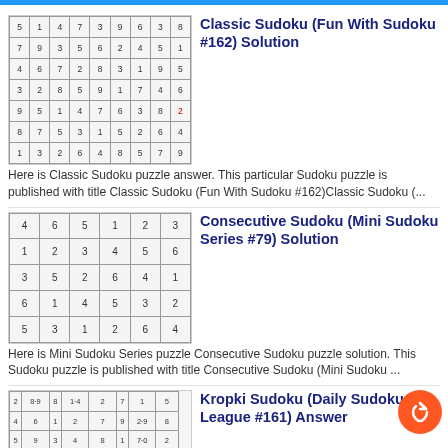[Figure (screenshot): Top blue bar]
[Figure (photo): Classic Sudoku grid thumbnail showing a completed 9x9 sudoku puzzle]
Classic Sudoku (Fun With Sudoku #162) Solution
Here is Classic Sudoku puzzle answer. This particular Sudoku puzzle is published with title Classic Sudoku (Fun With Sudoku #162)Classic Sudoku (...
[Figure (photo): Consecutive Sudoku mini grid thumbnail showing a completed 6x6 sudoku puzzle]
Consecutive Sudoku (Mini Sudoku Series #79) Solution
Here is Mini Sudoku Series puzzle Consecutive Sudoku puzzle solution. This Sudoku puzzle is published with title Consecutive Sudoku (Mini Sudoku ...
[Figure (photo): Kropki Sudoku grid thumbnail showing a completed puzzle with dots]
Kropki Sudoku (Daily Sudoku League #161) Answer
Here is the Kropki Sudoku answer for the puzzle titled Kropki Sudoku (Daily Sudoku League #161)Kropki Sudoku (Daily Sudoku League #161) Answer
[Figure (photo): Gray thumbnail for Detective Murder Mystery Puzzles]
Answers of Detective Murder Myste... Puzzles